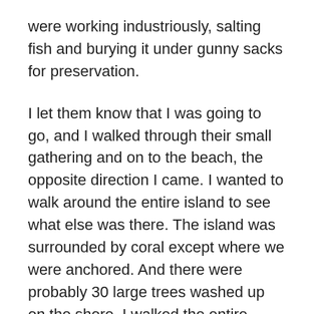were working industriously, salting fish and burying it under gunny sacks for preservation.
I let them know that I was going to go, and I walked through their small gathering and on to the beach, the opposite direction I came. I wanted to walk around the entire island to see what else was there. The island was surrounded by coral except where we were anchored. And there were probably 30 large trees washed up on the shore. I walked the entire length of the beach on the windward side, and then turned the corner and decided to go inland on the way back.
As soon as I walked inland, the sound of the waves and the wind all but disappeared. There were enough trees and shrubs there to almost completely block the sounds coming from the ocean and it also became stifling hot and humid. But it was an eye…